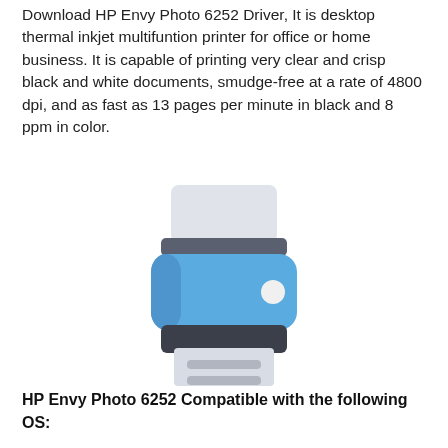Download HP Envy Photo 6252 Driver, It is desktop thermal inkjet multifuntion printer for office or home business. It is capable of printing very clear and crisp black and white documents, smudge-free at a rate of 4800 dpi, and as fast as 13 pages per minute in black and 8 ppm in color.
[Figure (illustration): Flat icon illustration of a desktop inkjet printer in blue/grey tones with paper feed tray at top and output tray at bottom]
HP Envy Photo 6252 Compatible with the following OS: